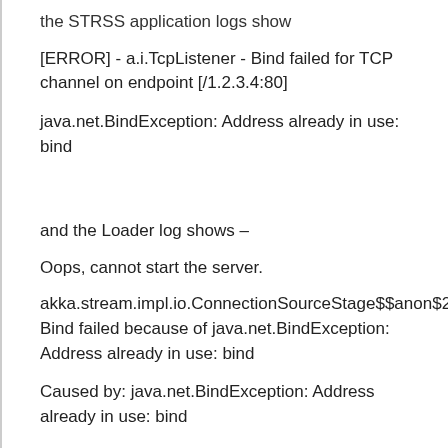the STRSS application logs show
[ERROR] - a.i.TcpListener - Bind failed for TCP channel on endpoint [/1.2.3.4:80]
java.net.BindException: Address already in use: bind
and the Loader log shows –
Oops, cannot start the server.
akka.stream.impl.io.ConnectionSourceStage$$anon$2$$anon$1: Bind failed because of java.net.BindException: Address already in use: bind
Caused by: java.net.BindException: Address already in use: bind
I don't have any firewalls running or anything installed